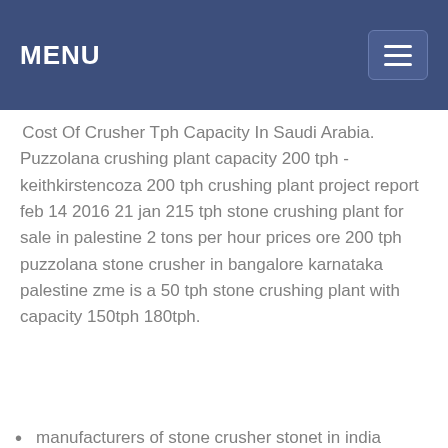MENU
Cost Of Crusher Tph Capacity In Saudi Arabia. Puzzolana crushing plant capacity 200 tph - keithkirstencoza 200 tph crushing plant project report feb 14 2016 21 jan 215 tph stone crushing plant for sale in palestine 2 tons per hour prices ore 200 tph puzzolana stone crusher in bangalore karnataka palestine zme is a 50 tph stone crushing plant with capacity 150tph 180tph.
manufacturers of stone crusher stonet in india
indonesia 245 tph stone crusher plant
dominican republic 555 tph screen crusher
mba for hydraulic crusher
mali 260 tph crusher machine